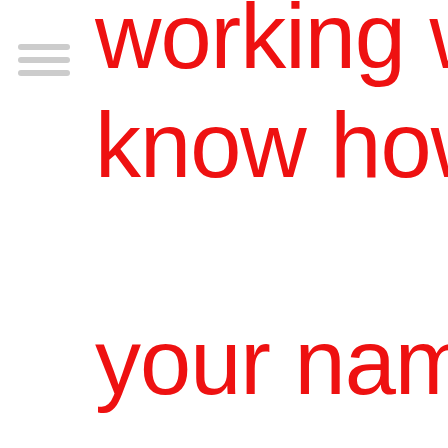[Figure (other): Hamburger menu icon — three horizontal grey bars]
working well only know how to use your name and ty come to jodhpur small message w